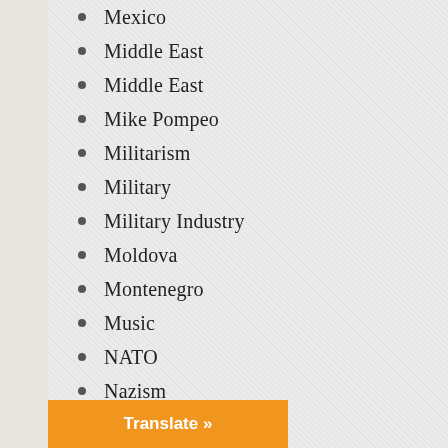Mexico
Middle East
Middle East
Mike Pompeo
Militarism
Military
Military Industry
Moldova
Montenegro
Music
NATO
Nazism
New Zealand
New Zealand
News Analysis
Nigeria
Nigeria
North Korea
Northern Rhodesia
Translate »